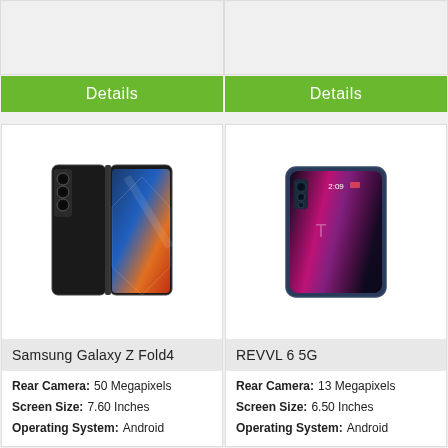[Figure (photo): Top left placeholder area (cropped phone image area, gray background)]
[Figure (photo): Top right placeholder area (cropped phone image area, gray background)]
Details
Details
[Figure (photo): Samsung Galaxy Z Fold4 smartphone product image showing back and front of the black folding phone]
Samsung Galaxy Z Fold4
Rear Camera: 50 Megapixels
Screen Size: 7.60 Inches
Operating System: Android
[Figure (photo): REVVL 6 5G smartphone product image showing blue/teal phone with triple camera]
REVVL 6 5G
Rear Camera: 13 Megapixels
Screen Size: 6.50 Inches
Operating System: Android